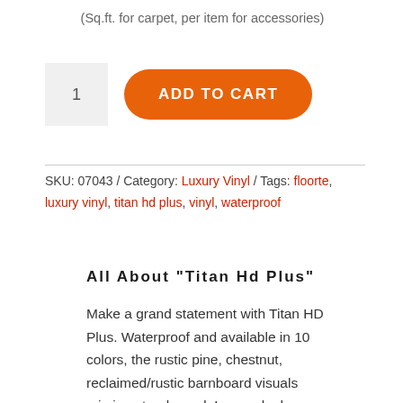(Sq.ft. for carpet, per item for accessories)
[Figure (other): Quantity input box showing '1' and an orange 'ADD TO CART' button]
SKU: 07043 / Category: Luxury Vinyl / Tags: floorte, luxury vinyl, titan hd plus, vinyl, waterproof
All About “Titan Hd Plus”
Make a grand statement with Titan HD Plus. Waterproof and available in 10 colors, the rustic pine, chestnut, reclaimed/rustic barnboard visuals mimic natural wood. Large planks make